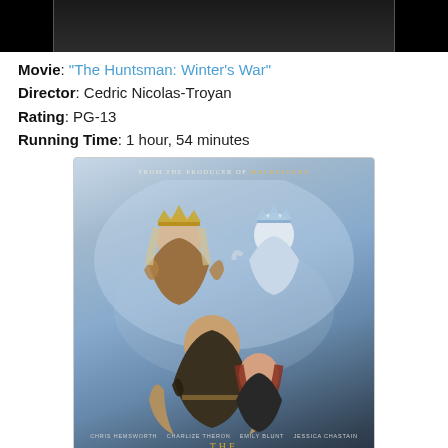[Figure (photo): Partial top image cropped at top of page, dark background]
Movie: "The Huntsman: Winter's War"
Director: Cedric Nicolas-Troyan
Rating: PG-13
Running Time: 1 hour, 54 minutes
[Figure (photo): Movie poster for The Huntsman: Winter's War showing four main characters with tagline 'From the producer of Maleficent' and cast names at bottom]